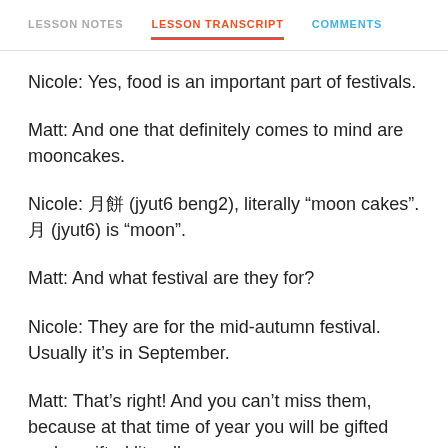LESSON NOTES   LESSON TRANSCRIPT   COMMENTS
Nicole: Yes, food is an important part of festivals.
Matt: And one that definitely comes to mind are mooncakes.
Nicole: 月餅 (jyut6 beng2), literally “moon cakes”. 月 (jyut6) is “moon”.
Matt: And what festival are they for?
Nicole: They are for the mid-autumn festival. Usually it’s in September.
Matt: That’s right! And you can’t miss them, because at that time of year you will be gifted and re-gifted literally